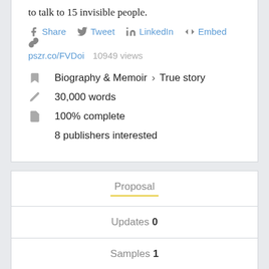to talk to 15 invisible people.
Share  Tweet  LinkedIn  </> Embed  🔗  pszr.co/FVDoi  10949 views
Biography & Memoir > True story
30,000 words
100% complete
8 publishers interested
Proposal
Updates 0
Samples 1
Comments 0